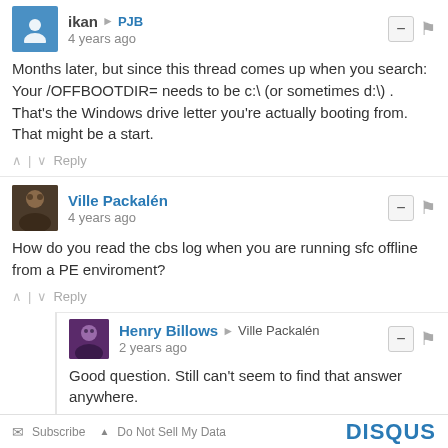ikan → PJB
4 years ago
Months later, but since this thread comes up when you search:
Your /OFFBOOTDIR= needs to be c:\ (or sometimes d:\) . That's the Windows drive letter you're actually booting from. That might be a start.
↑ | ↓ Reply
Ville Packalén
4 years ago
How do you read the cbs log when you are running sfc offline from a PE enviroment?
↑ | ↓ Reply
Henry Billows → Ville Packalén
2 years ago
Good question. Still can't seem to find that answer anywhere.
↑ | ↓ Reply
Subscribe  Do Not Sell My Data   DISQUS